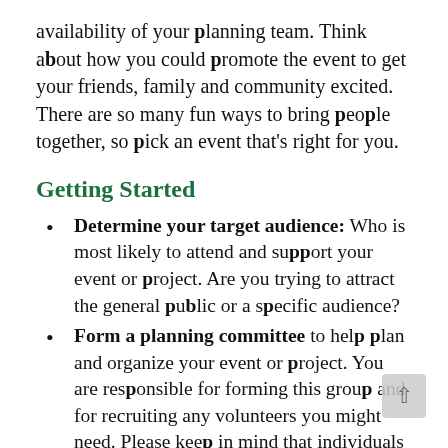availability of your planning team. Think about how you could promote the event to get your friends, family and community excited. There are so many fun ways to bring people together, so pick an event that's right for you.
Getting Started
Determine your target audience: Who is most likely to attend and support your event or project. Are you trying to attract the general public or a specific audience?
Form a planning committee to help plan and organize your event or project. You are responsible for forming this group and for recruiting any volunteers you might need. Please keep in mind that individuals under the age of 18 must have a mentor or adult advisor